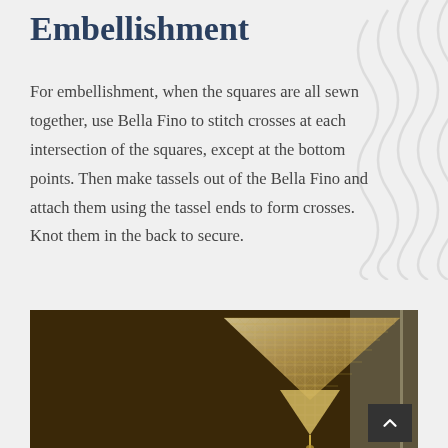Embellishment
For embellishment, when the squares are all sewn together, use Bella Fino to stitch crosses at each intersection of the squares, except at the bottom points. Then make tassels out of the Bella Fino and attach them using the tassel ends to form crosses. Knot them in the back to secure.
[Figure (photo): Close-up photo of woven/crocheted fabric with diamond mesh pattern, showing a triangular piece hanging with a tassel at the bottom, against a dark background]